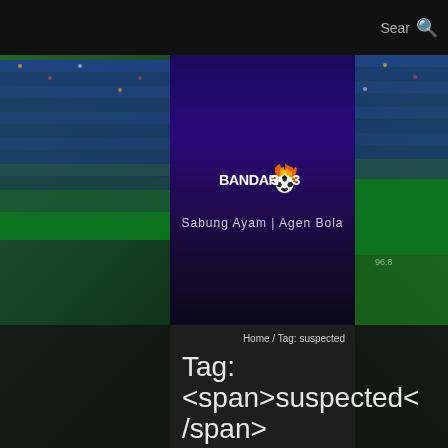Sear 🔍
[Figure (logo): BANDAR303 logo with soccer ball and flame graphic on dark blue/purple gradient background with tagline 'Sabung Ayam | Agen Bola']
Home / Tag: suspected
Tag: <span>suspected</span>